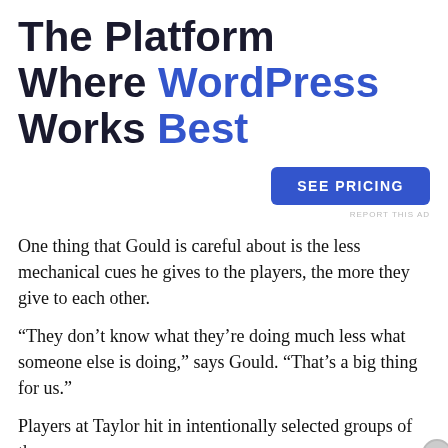The Platform Where WordPress Works Best
[Figure (other): Blue rounded rectangle button with white text 'SEE PRICING']
REPORT THIS AD
One thing that Gould is careful about is the less mechanical cues he gives to the players, the more they give to each other.
“They don’t know what they’re doing much less what someone else is doing,” says Gould. “That’s a big thing for us.”
Players at Taylor hit in intentionally selected groups of three.
Advertisements
[Figure (photo): Macy's advertisement with red background showing 'KISS BORING LIPS GOODBYE' text, a woman's face with red lips, 'SHOP NOW' button, and Macy's logo with red star]